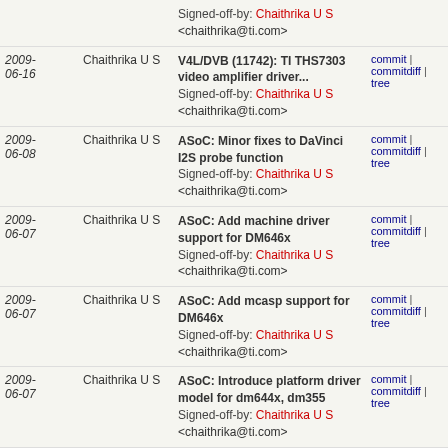| Date | Author | Commit Message | Links |
| --- | --- | --- | --- |
|  |  | Signed-off-by: Chaithrika U S <chaithrika@ti.com> |  |
| 2009-06-16 | Chaithrika U S | V4L/DVB (11742): TI THS7303 video amplifier driver... Signed-off-by: Chaithrika U S <chaithrika@ti.com> | commit | commitdiff | tree |
| 2009-06-08 | Chaithrika U S | ASoC: Minor fixes to DaVinci I2S probe function Signed-off-by: Chaithrika U S <chaithrika@ti.com> | commit | commitdiff | tree |
| 2009-06-07 | Chaithrika U S | ASoC: Add machine driver support for DM646x Signed-off-by: Chaithrika U S <chaithrika@ti.com> | commit | commitdiff | tree |
| 2009-06-07 | Chaithrika U S | ASoC: Add mcasp support for DM646x Signed-off-by: Chaithrika U S <chaithrika@ti.com> | commit | commitdiff | tree |
| 2009-06-07 | Chaithrika U S | ASoC: Introduce platform driver model for dm644x, dm355 Signed-off-by: Chaithrika U S <chaithrika@ti.com> | commit | commitdiff | tree |
| 2009-06-04 | Chaithrika U S | TI DaVinci EMAC: Remove print_mac, DECLARE_MAC_BUF Signed-off-by: Chaithrika U S <chaithrika@ti.com> | commit | commitdiff | tree |
| 2009-05-28 | Chaithrika U S | ASoC: Add dummy S/PDIF codec support Signed-off-by: Chaithrika U S | commit | commitdiff | tree |